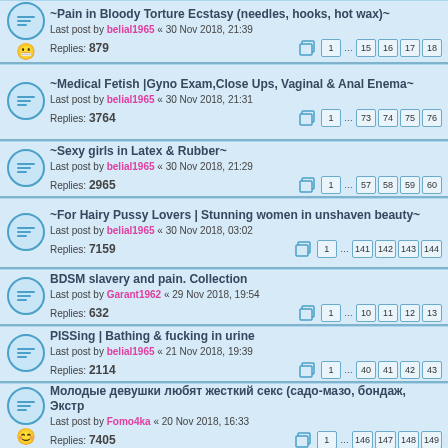~Pain in Bloody Torture Ecstasy (needles, hooks, hot wax)~ Last post by belial1965 « 30 Nov 2018, 21:39 Replies: 879 Pages: 1 ... 15 16 17 18
~Medical Fetish |Gyno Exam,Close Ups, Vaginal & Anal Enema~ Last post by belial1965 « 30 Nov 2018, 21:31 Replies: 3764 Pages: 1 ... 73 74 75 76
~Sexy girls in Latex & Rubber~ Last post by belial1965 « 30 Nov 2018, 21:29 Replies: 2965 Pages: 1 ... 57 58 59 60
~For Hairy Pussy Lovers | Stunning women in unshaven beauty~ Last post by belial1965 « 30 Nov 2018, 03:02 Replies: 7159 Pages: 1 ... 141 142 143 144
BDSM slavery and pain. Collection Last post by Garant1962 « 29 Nov 2018, 19:54 Replies: 632 Pages: 1 ... 10 11 12 13
PISSing | Bathing & fucking in urine Last post by belial1965 « 21 Nov 2018, 19:39 Replies: 2114 Pages: 1 ... 40 41 42 43
Молодые девушки любят жесткий секс (садо-мазо, бондаж, Экстр Last post by Fomo4ka « 20 Nov 2018, 16:33 Replies: 7405 Pages: 1 ... 146 147 148 149